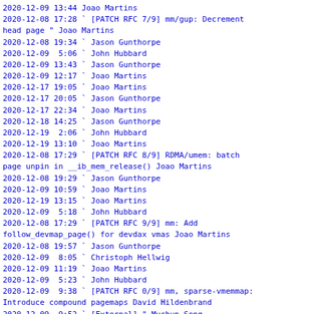2020-12-09 13:44         Joao Martins
2020-12-08 17:28 ` [PATCH RFC 7/9] mm/gup: Decrement head page " Joao Martins
2020-12-08 19:34   ` Jason Gunthorpe
2020-12-09  5:06     ` John Hubbard
2020-12-09 13:43       ` Jason Gunthorpe
2020-12-09 12:17     ` Joao Martins
2020-12-17 19:05     ` Joao Martins
2020-12-17 20:05       ` Jason Gunthorpe
2020-12-17 22:34         ` Joao Martins
2020-12-18 14:25           ` Jason Gunthorpe
2020-12-19  2:06         ` John Hubbard
2020-12-19 13:10           ` Joao Martins
2020-12-08 17:29 ` [PATCH RFC 8/9] RDMA/umem: batch page unpin in __ib_mem_release() Joao Martins
2020-12-08 19:29   ` Jason Gunthorpe
2020-12-09 10:59     ` Joao Martins
2020-12-19 13:15       ` Joao Martins
2020-12-09  5:18   ` John Hubbard
2020-12-08 17:29 ` [PATCH RFC 9/9] mm: Add follow_devmap_page() for devdax vmas Joao Martins
2020-12-08 19:57   ` Jason Gunthorpe
2020-12-09  8:05     ` Christoph Hellwig
2020-12-09 11:19       ` Joao Martins
2020-12-09  5:23   ` John Hubbard
2020-12-09  9:38 ` [PATCH RFC 0/9] mm, sparse-vmemmap: Introduce compound pagemaps David Hildenbrand
2020-12-09  9:52   ` [External] " Muchun Song
2021-02-20  1:18   ` Dan Williams
2021-02-22 11:06     ` Joao Martins
2021-02-22 11:22       ` Joao Martins